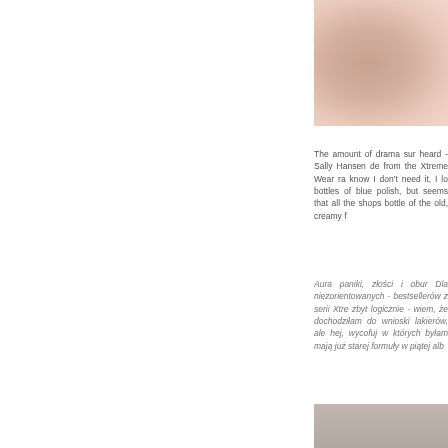[Figure (photo): Close-up photo of fingers/hand with nail polish, cropped at top right of page]
The amount of drama surrounding what I heard - Sally Hansen decided to pull from the Xtreme Wear range... I know I don't need it, I lo bottles of blue polish, but seems that all the shops bottle of the old, creamy f
Aura paniki, złości i obur Dla niezorientowanych - bestsellerów z serii Xtre zbyt logicznie - wiem, że dochodziłam do wnioski lakierów, ale hej, wycofuj w których byłam mają już starej formuły w piątej alb
[Figure (photo): Partial photo visible at bottom right of page]